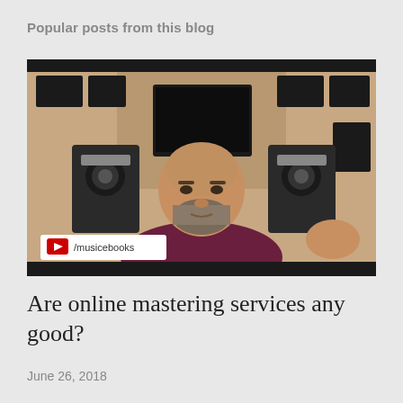Popular posts from this blog
[Figure (screenshot): Video thumbnail showing a man with a beard in a music studio, wearing a dark red/maroon shirt, with studio monitors and acoustic panels visible. A YouTube channel badge reading '/musicebooks' is visible in the lower left corner.]
Are online mastering services any good?
June 26, 2018